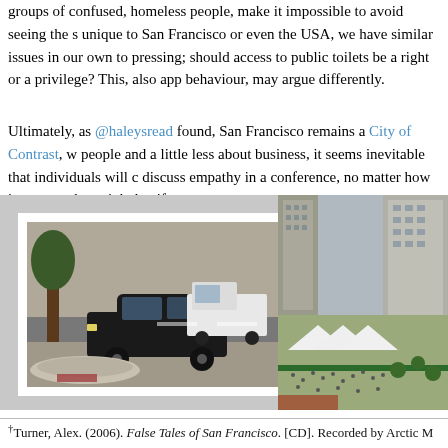groups of confused, homeless people, make it impossible to avoid seeing the s unique to San Francisco or even the USA, we have similar issues in our own to pressing; should access to public toilets be a right or a privilege? This, also app behaviour, may argue differently.
Ultimately, as @haleysread found, San Francisco remains a City of Contrast, w people and a little less about business, it seems inevitable that individuals will c discuss empathy in a conference, no matter how important that might be, if we
[Figure (photo): Composite image: left photo shows a homeless person sleeping under blankets next to a parked black car on a San Francisco street with a white van in background; right aerial photo shows Union Square or similar urban plaza with white tent structures and crowds of people, surrounded by city buildings.]
†Turner, Alex. (2006). False Tales of San Francisco. [CD]. Recorded by Arctic M